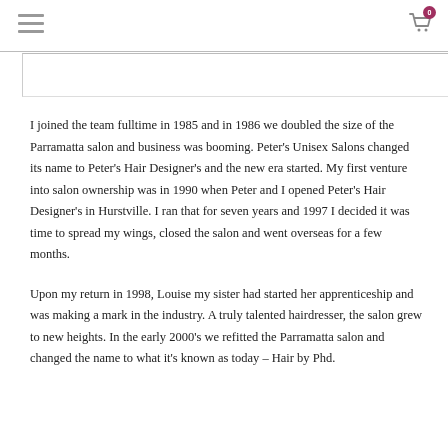Navigation header with hamburger menu and cart icon
I joined the team fulltime in 1985 and in 1986 we doubled the size of the Parramatta salon and business was booming. Peter's Unisex Salons changed its name to Peter's Hair Designer's and the new era started. My first venture into salon ownership was in 1990 when Peter and I opened Peter's Hair Designer's in Hurstville. I ran that for seven years and 1997 I decided it was time to spread my wings, closed the salon and went overseas for a few months.
Upon my return in 1998, Louise my sister had started her apprenticeship and was making a mark in the industry. A truly talented hairdresser, the salon grew to new heights. In the early 2000's we refitted the Parramatta salon and changed the name to what it's known as today – Hair by Phd.